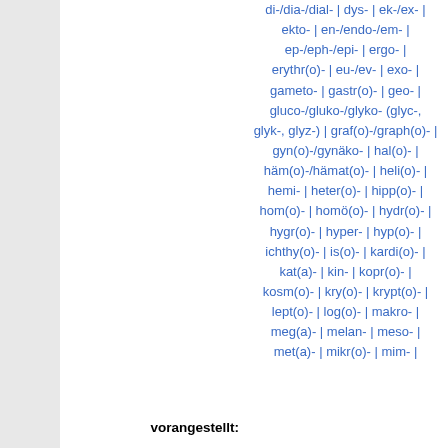di-/dia-/dial- | dys- | ek-/ex- | ekto- | en-/endo-/em- | ep-/eph-/epi- | ergo- | erythr(o)- | eu-/ev- | exo- | gameto- | gastr(o)- | geo- | gluco-/gluko-/glyko- (glyc-, glyk-, glyz-) | graf(o)-/graph(o)- | gyn(o)-/gynäko- | hal(o)- | häm(o)-/hämat(o)- | heli(o)- | hemi- | heter(o)- | hipp(o)- | hom(o)- | homö(o)- | hydr(o)- | hygr(o)- | hyper- | hyp(o)- | ichthy(o)- | is(o)- | kardi(o)- | kat(a)- | kin- | kopr(o)- | kosm(o)- | kry(o)- | krypt(o)- | lept(o)- | log(o)- | makro- | meg(a)- | melan- | meso- | met(a)- | mikr(o)- | mim-
vorangestellt: